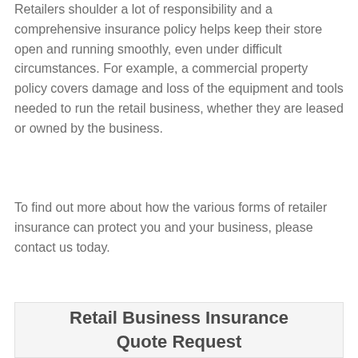Retailers shoulder a lot of responsibility and a comprehensive insurance policy helps keep their store open and running smoothly, even under difficult circumstances. For example, a commercial property policy covers damage and loss of the equipment and tools needed to run the retail business, whether they are leased or owned by the business.
To find out more about how the various forms of retailer insurance can protect you and your business, please contact us today.
Retail Business Insurance Quote Request